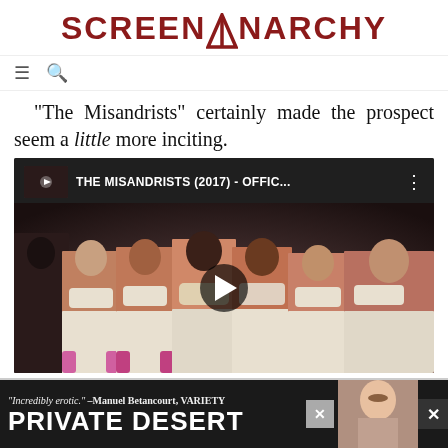SCREENANARCHY
“The Misandrists” certainly made the prospect seem a little more inciting.
[Figure (screenshot): YouTube video embed thumbnail for THE MISANDRISTS (2017) - OFFIC... showing women in masks and aprons with a play button overlay]
[Figure (photo): Advertisement banner reading: "Incredibly erotic." -Manuel Betancourt, VARIETY | PRIVATE DESERT with woman's face]